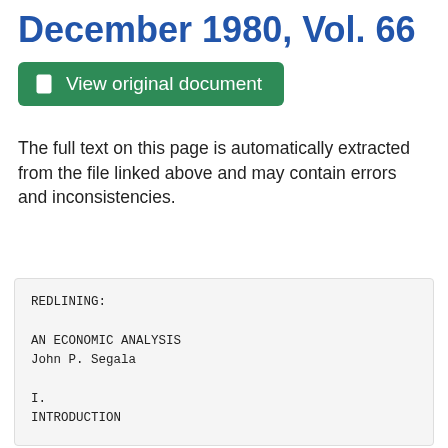December 1980, Vol. 66
[Figure (other): Green button labeled 'View original document' with document icon]
The full text on this page is automatically extracted from the file linked above and may contain errors and inconsistencies.
REDLINING:

AN ECONOMIC ANALYSIS
John P. Segala

I.
INTRODUCTION

The role of redlining
in the quality decline of
housing units in urban neighborhoods
has been the
Various